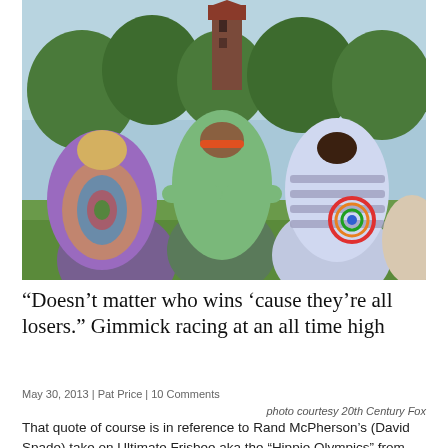[Figure (photo): Group of people in colorful tie-dye and patterned shirts huddled together from behind, outdoors with trees and a brick tower building in background]
“Doesn’t matter who wins ‘cause they’re all losers.” Gimmick racing at an all time high
May 30, 2013  |  Pat Price  |  10 Comments
photo courtesy 20th Century Fox
That quote of course is in reference to Rand McPherson’s (David Spade) take on Ultimate Frisbee aka the “Hippie Olympics” from the